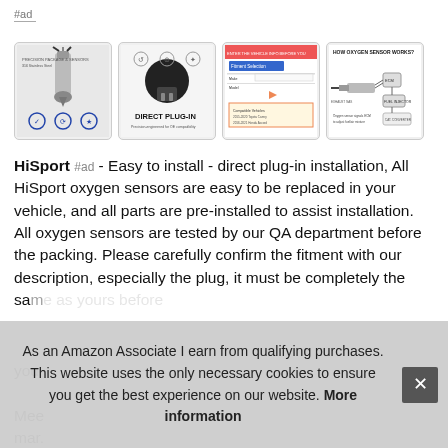#ad
[Figure (photo): Four product thumbnails for oxygen sensor: (1) sensor photo with feature icons, (2) black plug direct plug-in label, (3) fitment selection screenshot, (4) 'HOW OXYGEN SENSOR WORKS?' diagram]
HiSport #ad - Easy to install - direct plug-in installation, All HiSport oxygen sensors are easy to be replaced in your vehicle, and all parts are pre-installed to assist installation. All oxygen sensors are tested by our QA department before the packing. Please carefully confirm the fitment with our description, especially the plug, it must be completely the same as yours before you...
Mee... mar...
As an Amazon Associate I earn from qualifying purchases. This website uses the only necessary cookies to ensure you get the best experience on our website. More information